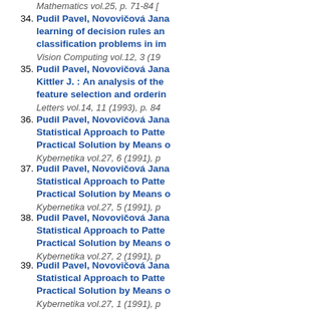Mathematics vol.25, p. 71-84 [truncated]
34. Pudil Pavel, Novovičová Jana, ... learning of decision rules and ... classification problems in im... Vision Computing vol.12, 3 (19...
35. Pudil Pavel, Novovičová Jana, ... Kittler J. : An analysis of the... feature selection and orderin... Letters vol.14, 11 (1993), p. 84...
36. Pudil Pavel, Novovičová Jana, ... Statistical Approach to Patte... Practical Solution by Means o... Kybernetika vol.27, 6 (1991), p...
37. Pudil Pavel, Novovičová Jana, ... Statistical Approach to Patte... Practical Solution by Means o... Kybernetika vol.27, 5 (1991), p...
38. Pudil Pavel, Novovičová Jana, ... Statistical Approach to Patte... Practical Solution by Means o... Kybernetika vol.27, 2 (1991), p...
39. Pudil Pavel, Novovičová Jana, ... Statistical Approach to Patte... Practical Solution by Means o... Kybernetika vol.27, 1 (1991), p...
Other publications:
1. Somol Petr, Vácha Pavel, Mik... Pudil Pavel, Žid Pavel : Intro...